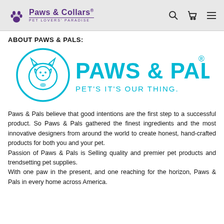Paws & Collars® PET LOVERS' PARADISE
ABOUT PAWS & PALS:
[Figure (logo): Paws & Pals logo with circular icon of dog and cat, cyan text reading PAWS & PALS® and tagline PET'S IT'S OUR THING.]
Paws & Pals believe that good intentions are the first step to a successful product. So Paws & Pals gathered the finest ingredients and the most innovative designers from around the world to create honest, hand-crafted products for both you and your pet.
Passion of Paws & Pals is Selling quality and premier pet products and trendsetting pet supplies.
With one paw in the present, and one reaching for the horizon, Paws & Pals in every home across America.